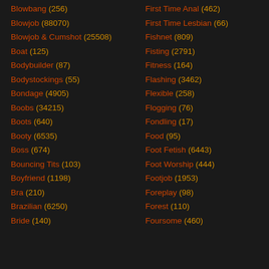Blowbang (256)
Blowjob (88070)
Blowjob & Cumshot (25508)
Boat (125)
Bodybuilder (87)
Bodystockings (55)
Bondage (4905)
Boobs (34215)
Boots (640)
Booty (6535)
Boss (674)
Bouncing Tits (103)
Boyfriend (1198)
Bra (210)
Brazilian (6250)
Bride (140)
First Time Anal (462)
First Time Lesbian (66)
Fishnet (809)
Fisting (2791)
Fitness (164)
Flashing (3462)
Flexible (258)
Flogging (76)
Fondling (17)
Food (95)
Foot Fetish (6443)
Foot Worship (444)
Footjob (1953)
Foreplay (98)
Forest (110)
Foursome (460)